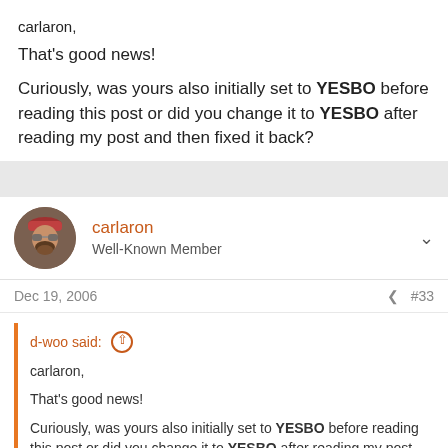carlaron,
That's good news!
Curiously, was yours also initially set to YESBO before reading this post or did you change it to YESBO after reading my post and then fixed it back?
carlaron
Well-Known Member
Dec 19, 2006
#33
d-woo said:
carlaron,
That's good news!
Curiously, was yours also initially set to YESBO before reading this post or did you change it to YESBO after reading my post and then fixed it back?